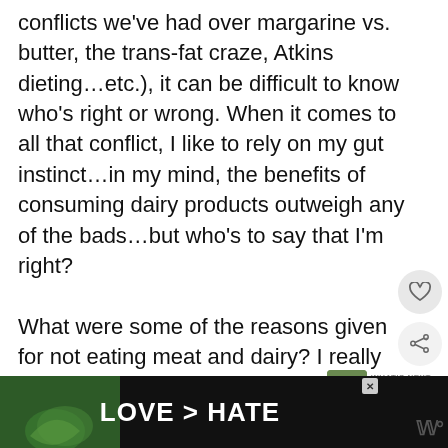conflicts we've had over margarine vs. butter, the trans-fat craze, Atkins dieting…etc.), it can be difficult to know who's right or wrong. When it comes to all that conflict, I like to rely on my gut instinct…in my mind, the benefits of consuming dairy products outweigh any of the bads…but who's to say that I'm right?

What were some of the reasons given for not eating meat and dairy? I really should pick up that book…:)
[Figure (other): Heart/like button icon (grey circle)]
[Figure (other): Share button icon (grey circle)]
[Figure (other): What's Next thumbnail - Breakfast Du Monde]
Reply
[Figure (other): Advertisement banner: LOVE > HATE with hands forming heart shape on dark background, close button X, and W logo]